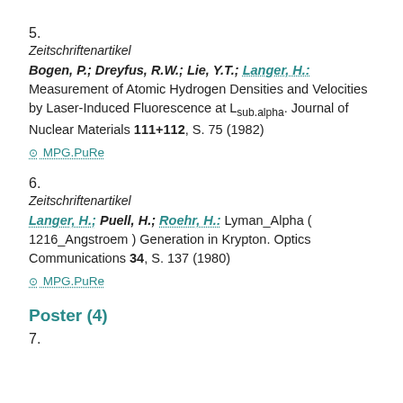5.
Zeitschriftenartikel
Bogen, P.; Dreyfus, R.W.; Lie, Y.T.; Langer, H.: Measurement of Atomic Hydrogen Densities and Velocities by Laser-Induced Fluorescence at L_sub.alpha. Journal of Nuclear Materials 111+112, S. 75 (1982)
MPG.PuRe
6.
Zeitschriftenartikel
Langer, H.; Puell, H.; Roehr, H.: Lyman_Alpha ( 1216_Angstroem ) Generation in Krypton. Optics Communications 34, S. 137 (1980)
MPG.PuRe
Poster (4)
7.